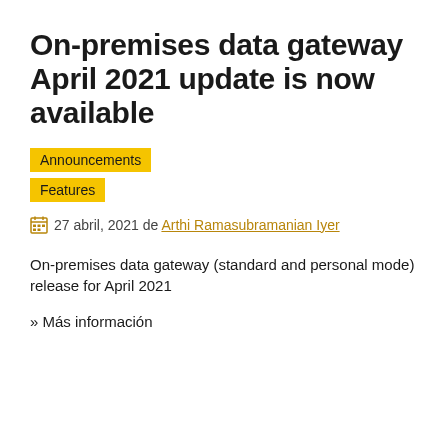On-premises data gateway April 2021 update is now available
Announcements
Features
27 abril, 2021 de Arthi Ramasubramanian Iyer
On-premises data gateway (standard and personal mode) release for April 2021
» Más información